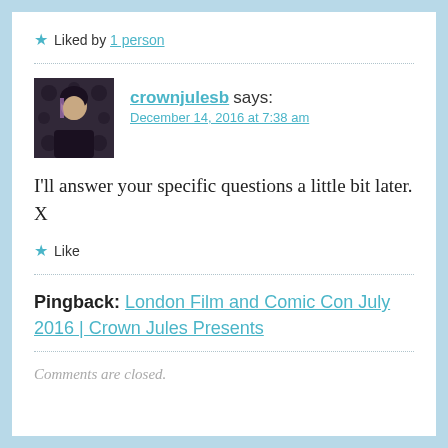★ Liked by 1 person
crownjulesb says:
December 14, 2016 at 7:38 am
I'll answer your specific questions a little bit later. X
★ Like
Pingback: London Film and Comic Con July 2016 | Crown Jules Presents
Comments are closed.